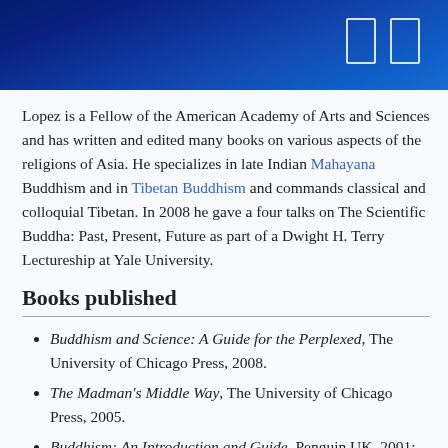Lopez is a Fellow of the American Academy of Arts and Sciences and has written and edited many books on various aspects of the religions of Asia. He specializes in late Indian Mahayana Buddhism and in Tibetan Buddhism and commands classical and colloquial Tibetan. In 2008 he gave a four talks on The Scientific Buddha: Past, Present, Future as part of a Dwight H. Terry Lectureship at Yale University.
Books published
Buddhism and Science: A Guide for the Perplexed, The University of Chicago Press, 2008.
The Madman's Middle Way, The University of Chicago Press, 2005.
Buddhism: An Introduction and Guide, Penguin UK, 2001; published in US as The Story of Buddhism, Harper: SanFrancisco, 2001; Italian edition, 2002; Czech edition, 2003.
Italian translation, Che cos'è il Buddhismo, Rome, Ubaldini Editore, 2002.